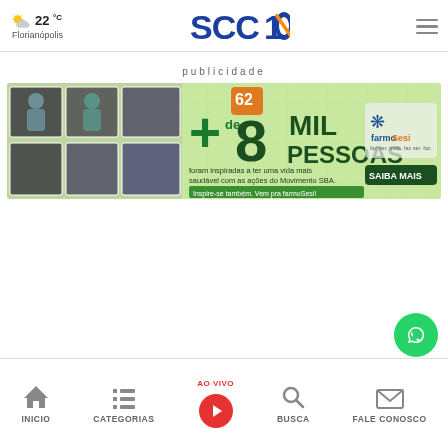22°C Florianópolis — SCC10 — Menu
publicidade
[Figure (illustration): FarmoSesi advertisement banner: '+de 8 MIL PESSOAS foram inspiradas a ter uma vida mais saudável com as ações do Movimento SBA. Inspire-se também. Vem pra farmoSesi! SAIBA MAIS' with photos of people and farmoSesi logo, green background, number 62 badge]
INICIO | CATEGORIAS | AO VIVO | BUSCA | FALE CONOSCO